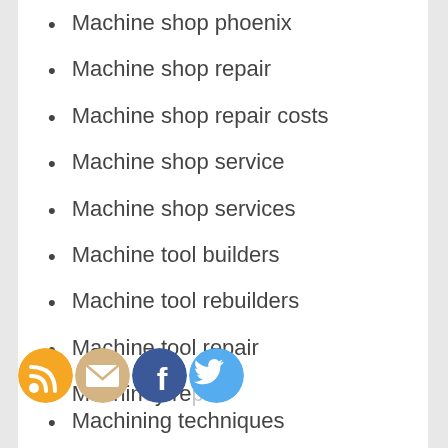Machine shop phoenix
Machine shop repair
Machine shop repair costs
Machine shop service
Machine shop services
Machine tool builders
Machine tool rebuilders
Machine tool repair
Machine repair
[Figure (illustration): Social media icons: RSS feed (orange), Email (beige/yellow), Facebook (blue), Twitter (light blue)]
Machining techniques
Madison wi auto repair
Make the damage almost unnoticeable